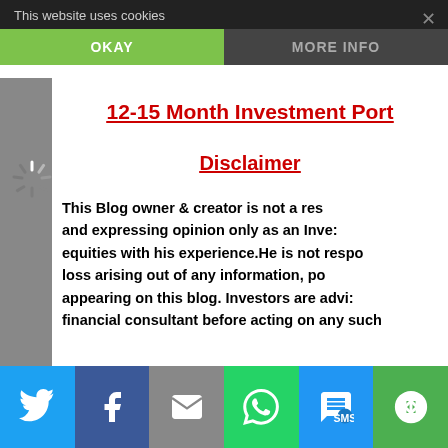This website uses cookies
OKAY
MORE INFO
12-15 Month Investment Port
Disclaimer
This Blog owner & creator is not a res and expressing opinion only as an Inve: equities with his experience.He is not respo loss arising out of any information, po appearing on this blog. Investors are advi: financial consultant before acting on any such
Twitter | Facebook | Email | WhatsApp | SMS | Other